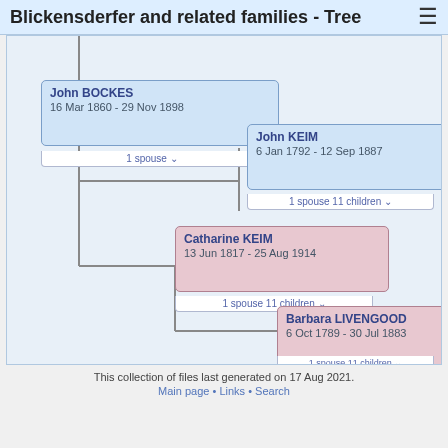Blickensderfer and related families - Tree
[Figure (organizational-chart): Genealogy tree showing John BOCKES (16 Mar 1860 - 29 Nov 1898), John KEIM (6 Jan 1792 - 12 Sep 1887), Catharine KEIM (13 Jun 1817 - 25 Aug 1914), and Barbara LIVENGOOD (6 Oct 1789 - 30 Jul 1883) with connecting lines and spouse/children buttons.]
This collection of files last generated on 17 Aug 2021.
Main page • Links • Search